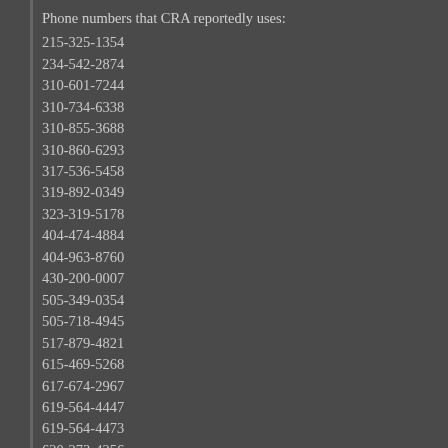Phone numbers that CRA reportedly uses:
215-325-1354
234-542-2874
310-601-7244
310-734-6338
310-855-3688
310-860-6293
317-536-5458
319-892-0349
323-319-5178
404-474-4884
404-963-8760
430-200-0007
505-349-0354
505-718-4945
517-879-4821
615-469-5268
617-674-2967
619-564-4447
619-564-4473
620-273-4256
702-946-0389
703-280-1121
706-417-9193
713-518-1966
757-271-6637
757-271-8786
757-271-8787